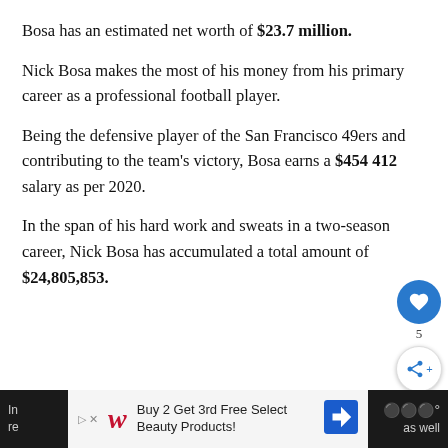Bosa has an estimated net worth of $23.7 million.
Nick Bosa makes the most of his money from his primary career as a professional football player.
Being the defensive player of the San Francisco 49ers and contributing to the team's victory, Bosa earns a $454 412 salary as per 2020.
In the span of his hard work and sweats in a two-season career, Nick Bosa has accumulated a total amount of $24,805,853.